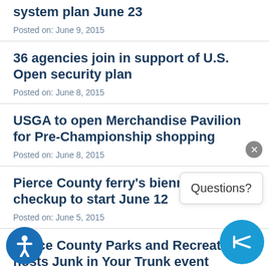system plan June 23
Posted on: June 9, 2015
36 agencies join in support of U.S. Open security plan
Posted on: June 8, 2015
USGA to open Merchandise Pavilion for Pre-Championship shopping
Posted on: June 8, 2015
Pierce County ferry's biennial checkup to start June 12
Posted on: June 5, 2015
Pierce County Parks and Recreation hosts Junk in Your Trunk event
Posted on: June 5, 2015
eo News: U.S. Open Special from the Chamber Bay clubhouse